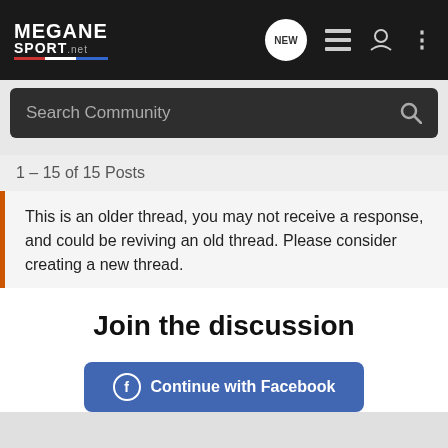MEGANE SPORT.net — navigation bar with search
1 – 15 of 15 Posts
This is an older thread, you may not receive a response, and could be reviving an old thread. Please consider creating a new thread.
Join the discussion
Continue with Facebook
Continue with Google
or sign up with email